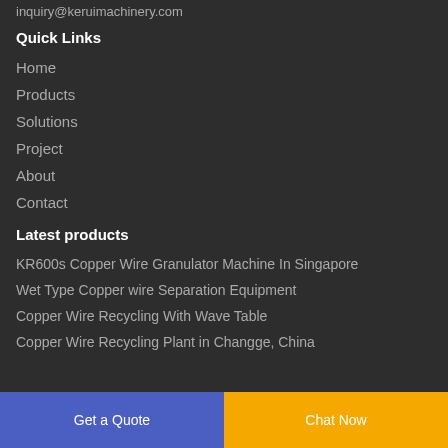inquiry@keruimachinery.com
Quick Links
Home
Products
Solutions
Project
About
Contact
Latest products
KR600s Copper Wire Granulator Machine In Singapore
Wet Type Copper wire Separation Equipment
Copper Wire Recycling With Wave Table
Copper Wire Recycling Plant in Changge, China
Get a Quote
Chat Now